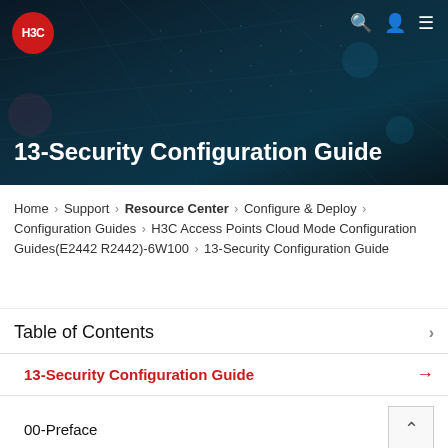[Figure (screenshot): H3C website banner with dark teal/navy background showing circuit board pattern, H3C red circular logo top-left, search/user/menu icons top-right]
13-Security Configuration Guide
Home › Support › Resource Center › Configure & Deploy › Configuration Guides › H3C Access Points Cloud Mode Configuration Guides(E2442 R2442)-6W100 › 13-Security Configuration Guide
Table of Contents
13-Security Configuration Guide
00-Preface